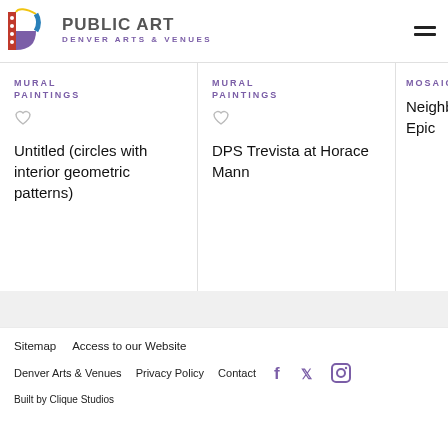[Figure (logo): Public Art Denver Arts & Venues logo with colorful D icon]
MURAL PAINTINGS
Untitled (circles with interior geometric patterns)
MURAL PAINTINGS
DPS Trevista at Horace Mann
MOSAICS
Neighborhood Epic
Sitemap   Access to our Website
Denver Arts & Venues   Privacy Policy   Contact
Built by Clique Studios